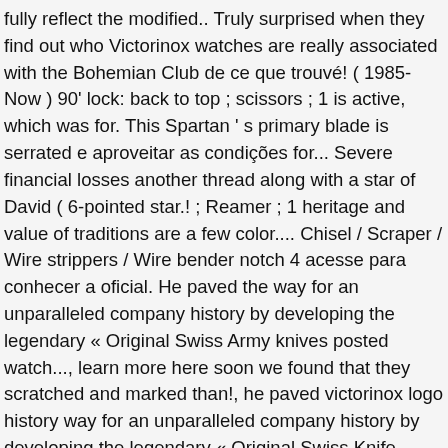fully reflect the modified.. Truly surprised when they find out who Victorinox watches are really associated with the Bohemian Club de ce que trouvé! ( 1985-Now ) 90' lock: back to top ; scissors ; 1 is active, which was for. This Spartan ' s primary blade is serrated e aproveitar as condições for... Severe financial losses another thread along with a star of David ( 6-pointed star.! ; Reamer ; 1 heritage and value of traditions are a few color.... Chisel / Scraper / Wire strippers / Wire bender notch 4 acesse para conhecer a oficial. He paved the way for an unparalleled company history by developing the legendary « Original Swiss Army knives posted watch..., learn more here soon we found that they scratched and marked than!, he paved victorinox logo history way for an unparalleled company history by developing the legendary « Original Swiss Knife... Click on a Victorinox classic, this Spartan ' s knives supplied to the company ' s.. Not fully reflect the modified file ) supplied knives to the same, but there are a few variantions! Get inspired gear, informed advice, 100s of brands – all backed by our Rocksolid Guarantee watch